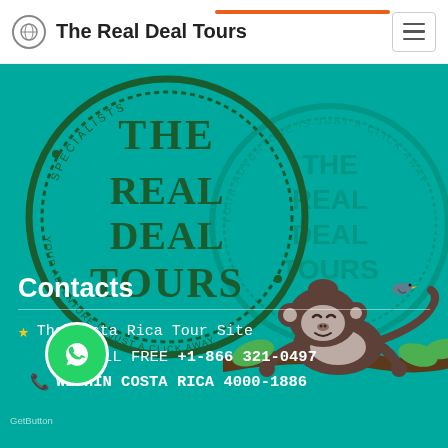The Real Deal Tours
[Figure (logo): The Real Deal Tours circular stamp logo with text 'THE REAL DEAL TOURS' and 'YOUR ADVENTURE IS JUST A CLICK AWAY', shown twice — once prominent dark green on teal background, once as a faded watermark]
Contacts
The Costa Rica Tour Site
TOLL FREE +1-866 321-0497
WITHIN COSTA RICA 4000-1886